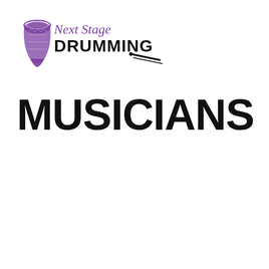[Figure (logo): Next Stage Drumming logo: a djembe drum illustration in purple on the left, with 'Next Stage' in purple cursive script and 'DRUMMING' in large black bold text, followed by a drumstick graphic in black.]
MUSICIANS